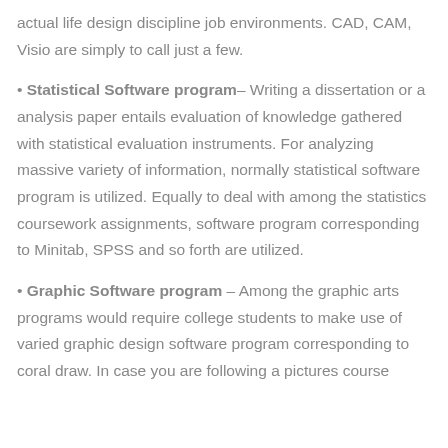actual life design discipline job environments. CAD, CAM, Visio are simply to call just a few.
Statistical Software program– Writing a dissertation or a analysis paper entails evaluation of knowledge gathered with statistical evaluation instruments. For analyzing massive variety of information, normally statistical software program is utilized. Equally to deal with among the statistics coursework assignments, software program corresponding to Minitab, SPSS and so forth are utilized.
Graphic Software program – Among the graphic arts programs would require college students to make use of varied graphic design software program corresponding to coral draw. In case you are following a pictures course